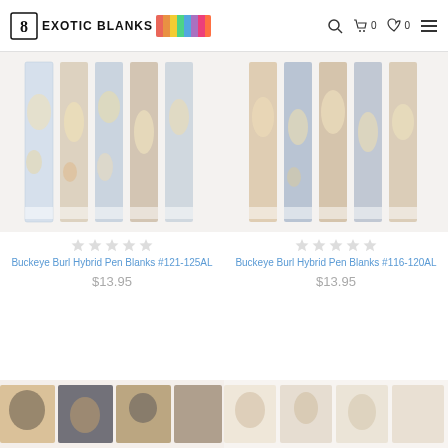Exotic Blanks
[Figure (photo): Buckeye Burl Hybrid Pen Blanks #121-125AL product image showing multiple pen blanks with burl wood and resin]
★★★★★
Buckeye Burl Hybrid Pen Blanks #121-125AL
$13.95
[Figure (photo): Buckeye Burl Hybrid Pen Blanks #116-120AL product image showing multiple pen blanks with burl wood and resin]
★★★★★
Buckeye Burl Hybrid Pen Blanks #116-120AL
$13.95
[Figure (photo): Bottom left product image - pen blanks with dark and amber tones]
[Figure (photo): Bottom right product image - pen blanks with light/cream tones]